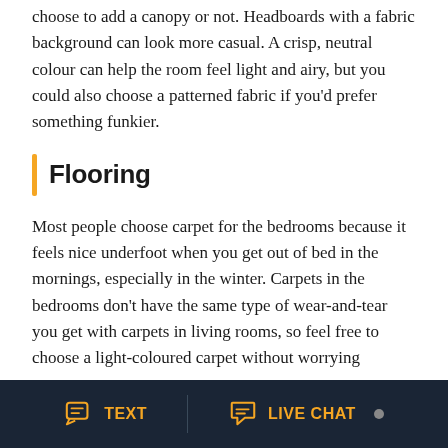choose to add a canopy or not. Headboards with a fabric background can look more casual. A crisp, neutral colour can help the room feel light and airy, but you could also choose a patterned fabric if you'd prefer something funkier.
Flooring
Most people choose carpet for the bedrooms because it feels nice underfoot when you get out of bed in the mornings, especially in the winter. Carpets in the bedrooms don't have the same type of wear-and-tear you get with carpets in living rooms, so feel free to choose a light-coloured carpet without worrying
[Figure (screenshot): Bottom navigation bar with TEXT and LIVE CHAT buttons on dark navy background with yellow icons]